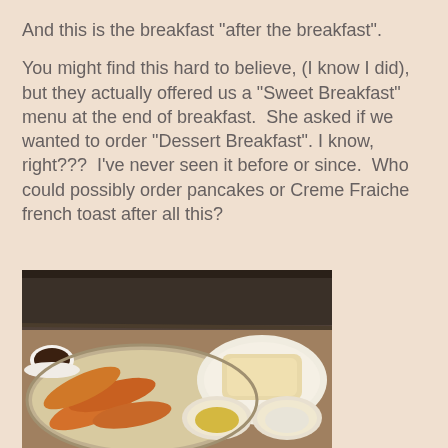And this is the breakfast "after the breakfast".
You might find this hard to believe, (I know I did), but they actually offered us a "Sweet Breakfast" menu at the end of breakfast.  She asked if we wanted to order "Dessert Breakfast". I know, right???  I've never seen it before or since.  Who could possibly order pancakes or Creme Fraiche french toast after all this?
[Figure (photo): Photo of a breakfast spread on a restaurant table showing sausages in a serving dish, bread on a plate, and small bowls with condiments or spreads, with a coffee cup visible in the background.]